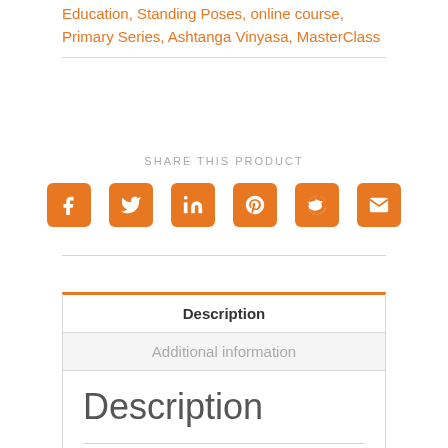Education, Standing Poses, online course, Primary Series, Ashtanga Vinyasa, MasterClass
SHARE THIS PRODUCT
[Figure (infographic): Social sharing icons for Facebook, Twitter, LinkedIn, Pinterest, Reddit, and Email — orange rounded square buttons with white icons]
Description
Additional information
Description
“Truly enjoyed the workshop. Simon